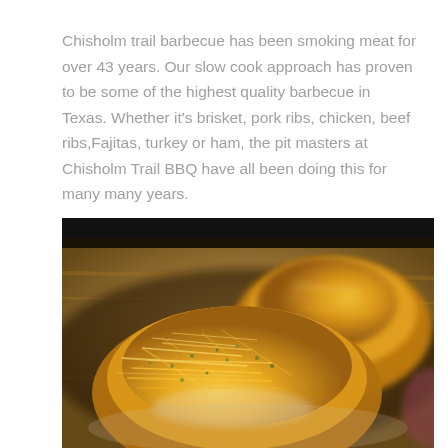Chisholm trail barbecue has been smoking meat for over 43 years. Our slow cook approach has proven to be some of the highest quality barbecue in Texas. Whether it's brisket, pork ribs, chicken, beef ribs,Fajitas, turkey or ham, the pit masters at Chisholm Trail BBQ have all been doing this for many many years.
[Figure (photo): Close-up food photo showing two mounds of shredded yellow cheese (cheddar) with green herb flakes on top, served on a plate with a blurred wooden background. The image is taken from a low angle with a shallow depth of field.]